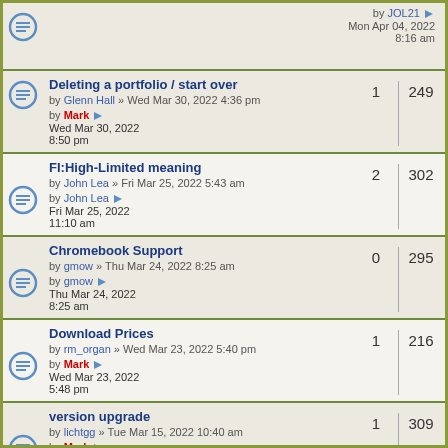| Topic | Replies | Views |
| --- | --- | --- |
| Deleting a portfolio / start over
by Glenn Hall » Wed Mar 30, 2022 4:36 pm | by Mark Wed Mar 30, 2022 8:50 pm | 1 | 249 |
| FI:High-Limited meaning
by John Lea » Fri Mar 25, 2022 5:43 am | by John Lea Fri Mar 25, 2022 11:10 am | 2 | 302 |
| Chromebook Support
by gmow » Thu Mar 24, 2022 8:25 am | by gmow Thu Mar 24, 2022 8:25 am | 0 | 295 |
| Download Prices
by rm_organ » Wed Mar 23, 2022 5:40 pm | by Mark Wed Mar 23, 2022 5:48 pm | 1 | 216 |
| version upgrade
by lichtgg » Tue Mar 15, 2022 10:40 am | by Mark Tue Mar 15, 2022 4:11 pm | 1 | 309 |